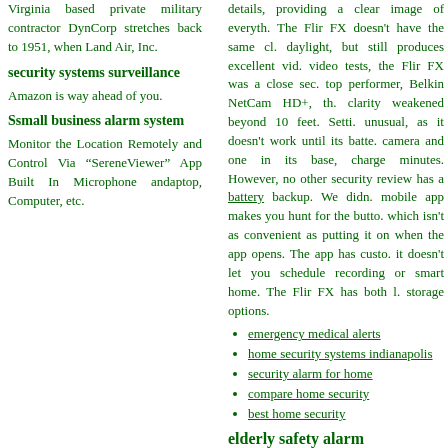Virginia based private military contractor DynCorp stretches back to 1951, when Land Air, Inc.
security systems surveillance
Amazon is way ahead of you.
Ssmall business alarm system
Monitor the Location Remotely and Control Via “SereneViewer” App Built In Microphone andaptop, Computer, etc.
details, providing a clear image of everyth... The Flir FX doesn't have the same cl... daylight, but still produces excellent vid... video tests, the Flir FX was a close sec... top performer, Belkin NetCam HD+, th... clarity weakened beyond 10 feet. Setti... unusual, as it doesn't work until its batte... camera and one in its base, charge ... minutes. However, no other security ... review has a battery backup. We didn... mobile app makes you hunt for the butto... which isn't as convenient as putting it on ... when the app opens. The app has custo... it doesn't let you schedule recording or ... smart home. The Flir FX has both l... storage options.
emergency medical alerts
home security systems indianapolis
security alarm for home
compare home security
best home security
elderly safety alarm
A siren or flashing light may be put into ac... generators can start produce smoke scr... the intruders, cameras can begin recordin...